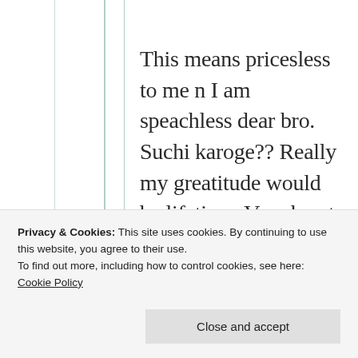This means pricesless to me n I am speachless dear bro. Suchi karoge?? Really my greatitude would be lifetime. Very heart touching thoughts bro I am really in joy with no words to write. Let me write few more will do for sure 😇🙏❤
Privacy & Cookies: This site uses cookies. By continuing to use this website, you agree to their use. To find out more, including how to control cookies, see here: Cookie Policy